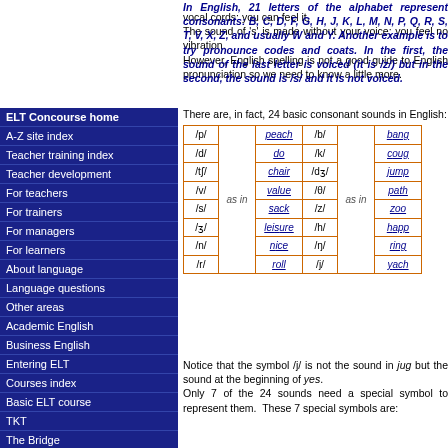The sound of 'z' you make by vibrating your vocal cords: you can feel it. The sound of 's' is made without your voice: you feel no vibration.
In English, 21 letters of the alphabet represent consonants: B, C, D, F, G, H, J, K, L, M, N, P, Q, R, S, T, V, X, Z, and usually W and Y. Another example is to try pronounce codes and coats. In the first, the sound of the last letter is voiced (it is /z/) but in the second the sound is /s/ and it is not voiced. However, English spelling is not a good guide to English pronunciation so we need to know a little more.
There are, in fact, 24 basic consonant sounds in English:
| /p/ | as in | peach | /b/ | as in | bang |
| --- | --- | --- | --- | --- | --- |
| /d/ |  | do | /k/ |  | cough |
| /tʃ/ |  | chair | /dʒ/ |  | jump |
| /v/ | as in | value | /θ/ | as in | path |
| /s/ |  | sack | /z/ |  | zoo |
| /ʒ/ |  | leisure | /h/ |  | happy |
| /n/ |  | nice | /ŋ/ |  | ring |
| /r/ |  | roll | /j/ |  | yacht |
Notice that the symbol /j/ is not the sound in jug but the sound at the beginning of yes. Only 7 of the 24 sounds need a special symbol to represent them. These 7 special symbols are:
ELT Concourse home
A-Z site index
Teacher training index
Teacher development
For teachers
For trainers
For managers
For learners
About language
Language questions
Other areas
Academic English
Business English
Entering ELT
Courses index
Basic ELT course
TKT
The Bridge
Language analysis
Training to train